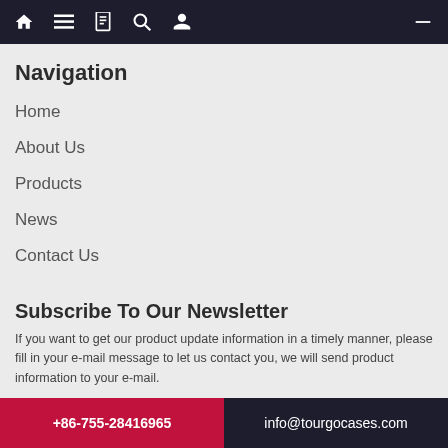🏠 ☰ 📋 🔍 👤 ←
Navigation
Home
About Us
Products
News
Contact Us
Subscribe To Our Newsletter
If you want to get our product update information in a timely manner, please fill in your e-mail message to let us contact you, we will send product information to your e-mail.
Please put the email address!
+86-755-28416965    info@tourgocases.com